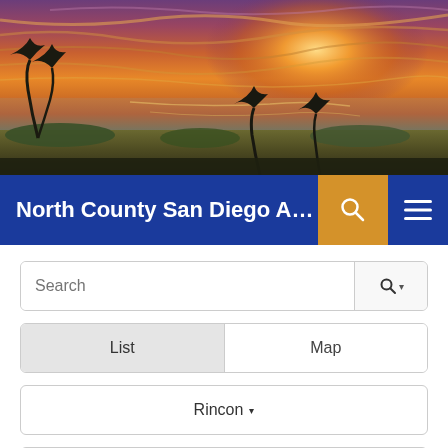[Figure (photo): Sunset beach scene with dramatic orange and purple sky, silhouetted trees on sandy beach with ocean in background]
North County San Diego Alcoholics Anon...
Search
List | Map
Rincon ▾
Sunday ▾
Any Time ▾
Any Type ▾